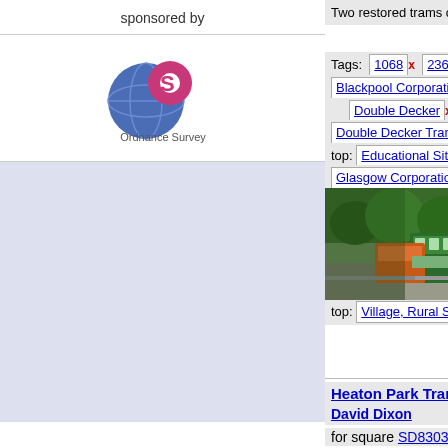sponsored by
[Figure (logo): Ordnance Survey logo - blue globe with pink highlights and 'OS' text, below reads 'Ordnance Survey']
Two restored trams carrying vis... the Crich Tramway Village depa... (more)
Tags: 1068 x  236 x  68 x
Blackpool Corporation x  B...
Double Decker x
Double Decker Tram
top: Educational Sites x
Glasgow Corporation Tramw...
top: Historic Sites and Artefa...
Open Top x  Open Topped x...
Paisley and District Tramwa...
Preserved Tram x  top: Rail...
top: Village, Rural Settlemer...
[Figure (photo): Photo of two restored trams at Crich Tramway Village, green and orange trams on tracks surrounded by trees]
Heaton Park Tramway; Blackpool Balloon Car ... David Dixon
for square SD8303
English Electric "Balloon" car 70... originally entered service with...
Tags: 702 x  Balloon Car x...